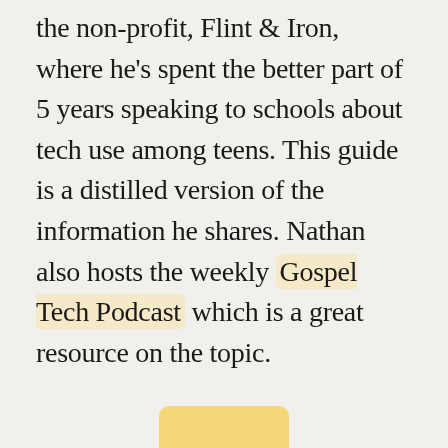the non-profit, Flint & Iron, where he's spent the better part of 5 years speaking to schools about tech use among teens. This guide is a distilled version of the information he shares. Nathan also hosts the weekly Gospel Tech Podcast which is a great resource on the topic.